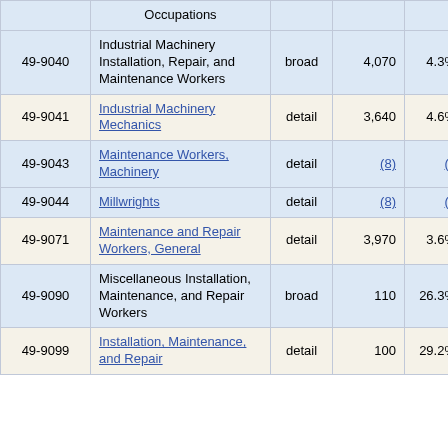| SOC Code | Occupations | Level | Employment | Percent |
| --- | --- | --- | --- | --- |
| 49-9040 | Industrial Machinery Installation, Repair, and Maintenance Workers | broad | 4,070 | 4.3% |
| 49-9041 | Industrial Machinery Mechanics | detail | 3,640 | 4.6% |
| 49-9043 | Maintenance Workers, Machinery | detail | (8) | (8) |
| 49-9044 | Millwrights | detail | (8) | (8) |
| 49-9071 | Maintenance and Repair Workers, General | detail | 3,970 | 3.6% |
| 49-9090 | Miscellaneous Installation, Maintenance, and Repair Workers | broad | 110 | 26.3% |
| 49-9099 | Installation, Maintenance, and Repair... | detail | 100 | 29.2% |